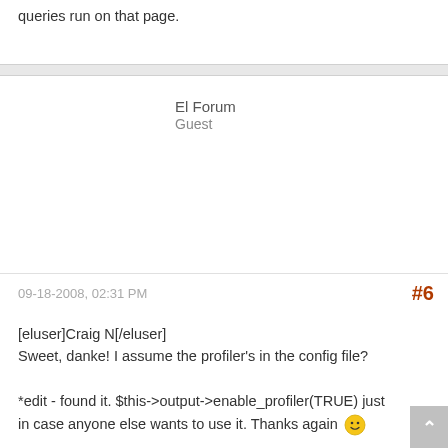queries run on that page.
El Forum
Guest
09-18-2008, 02:31 PM
#6
[eluser]Craig N[/eluser]
Sweet, danke! I assume the profiler's in the config file?

*edit - found it. $this->output->enable_profiler(TRUE) just in case anyone else wants to use it. Thanks again 😊